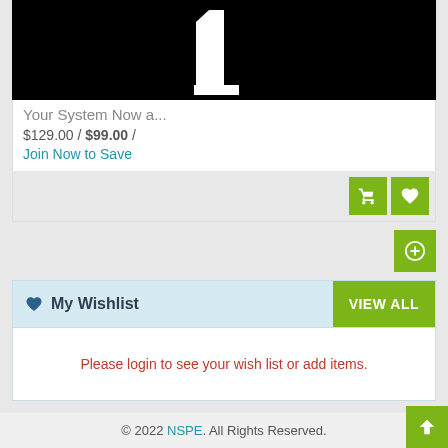[Figure (screenshot): Product image with black background showing a white number 1 or similar icon, partially cropped at top]
Your System Now a...
$129.00 / $99.00 /
Join Now to Save
My Wishlist
Please login to see your wish list or add items.
© 2022 NSPE. All Rights Reserved.